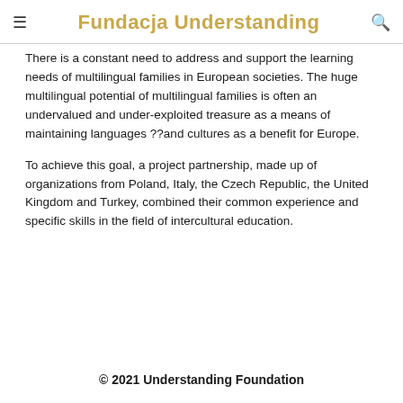Fundacja Understanding
There is a constant need to address and support the learning needs of multilingual families in European societies. The huge multilingual potential of multilingual families is often an undervalued and under-exploited treasure as a means of maintaining languages ??and cultures as a benefit for Europe.
To achieve this goal, a project partnership, made up of organizations from Poland, Italy, the Czech Republic, the United Kingdom and Turkey, combined their common experience and specific skills in the field of intercultural education.
© 2021 Understanding Foundation